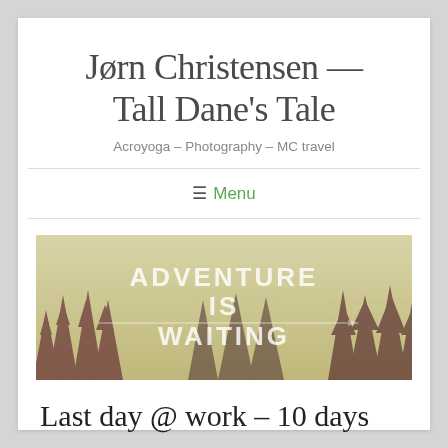Jørn Christensen — Tall Dane's Tale
Acroyoga – Photography – MC travel
≡ Menu
[Figure (illustration): Banner image with trees silhouette and text overlay reading 'ADVENTURE IS WAITING']
Last day @ work – 10 days